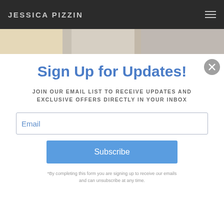JESSICA PIZZIN
[Figure (photo): Food/cooking photograph showing dough in a bowl, flour being poured, and a wooden spoon]
Sign Up for Updates!
JOIN OUR EMAIL LIST TO RECEIVE UPDATES AND EXCLUSIVE OFFERS DIRECTLY IN YOUR INBOX
Email
Subscribe
*By completing this form you are signing up to receive our emails and can unsubscribe at any time.
Sign up!